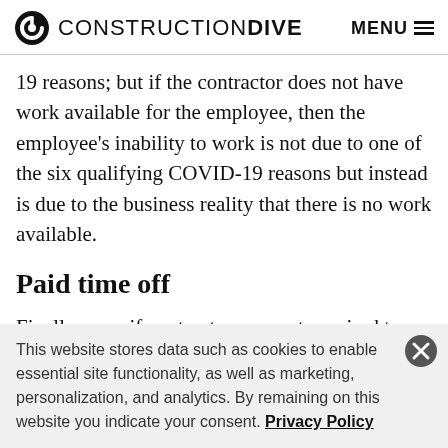CONSTRUCTION DIVE  MENU
19 reasons; but if the contractor does not have work available for the employee, then the employee's inability to work is not due to one of the six qualifying COVID-19 reasons but instead is due to the business reality that there is no work available.
Paid time off
Finally, even if contractors are not required to pay their
This website stores data such as cookies to enable essential site functionality, as well as marketing, personalization, and analytics. By remaining on this website you indicate your consent. Privacy Policy